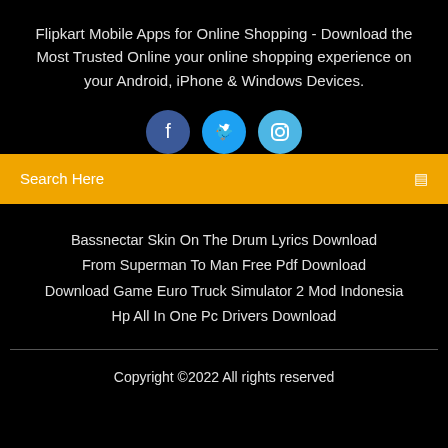Flipkart Mobile Apps for Online Shopping - Download the Most Trusted Online your online shopping experience on your Android, iPhone & Windows Devices.
[Figure (other): Three social media icon circles: Facebook (dark blue), Twitter (blue), Instagram (light blue) with white icons]
Search Here
Bassnectar Skin On The Drum Lyrics Download
From Superman To Man Free Pdf Download
Download Game Euro Truck Simulator 2 Mod Indonesia
Hp All In One Pc Drivers Download
Copyright ©2022 All rights reserved